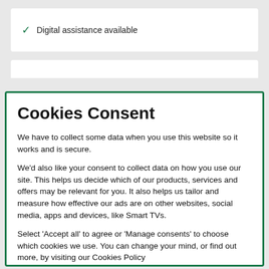✓ Digital assistance available
Cookies Consent
We have to collect some data when you use this website so it works and is secure.
We'd also like your consent to collect data on how you use our site. This helps us decide which of our products, services and offers may be relevant for you. It also helps us tailor and measure how effective our ads are on other websites, social media, apps and devices, like Smart TVs.
Select 'Accept all' to agree or 'Manage consents' to choose which cookies we use. You can change your mind, or find out more, by visiting our Cookies Policy
Accept all
Manage consents